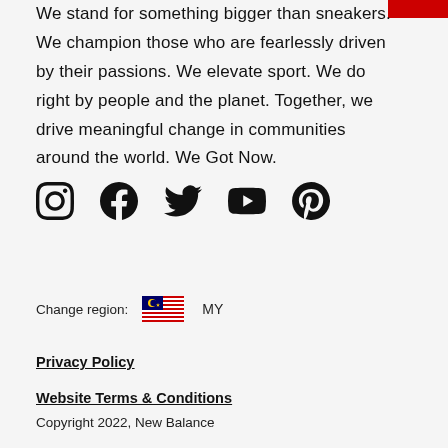We stand for something bigger than sneakers. We champion those who are fearlessly driven by their passions. We elevate sport. We do right by people and the planet. Together, we drive meaningful change in communities around the world. We Got Now.
[Figure (infographic): Social media icons: Instagram, Facebook, Twitter, YouTube, Pinterest]
Change region: MY (Malaysia flag)
Privacy Policy
Website Terms & Conditions
Copyright 2022, New Balance